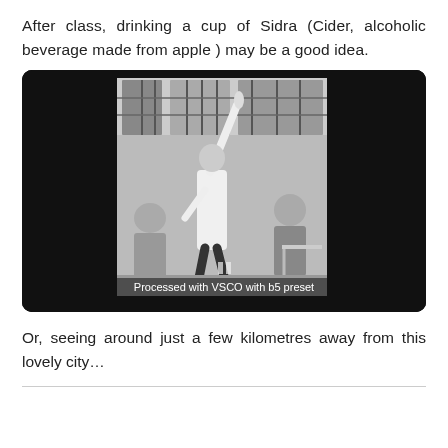After class, drinking a cup of Sidra (Cider, alcoholic beverage made from apple ) may be a good idea.
[Figure (photo): Black and white photo of a person (likely a waiter) holding a bottle high above their head with one arm raised, pouring or displaying it, set in an outdoor restaurant or bar. Other people are seated in the background. The image has a dark border/frame. Overlay text reads: 'Processed with VSCO with b5 preset']
Or, seeing around just a few kilometres away from this lovely city…